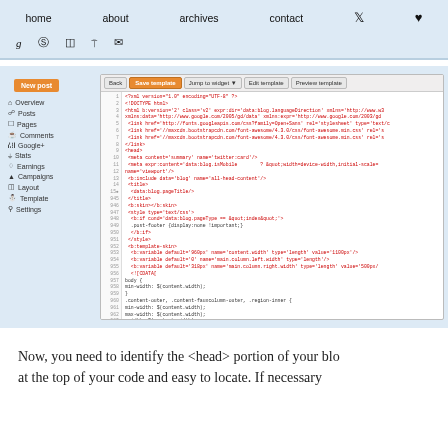home   about   archives   contact   [twitter] [heart]
g  [pinterest]  [instagram]  [rss]  [email]
[Figure (screenshot): Blogger dashboard screenshot showing the Template editor with HTML/CSS code including XML declaration, DOCTYPE, html tag with b:version attribute, link tags for Google Fonts and Bootstrap, head section with meta tags, title with data:blog.pageTitle, b:skin with style type text/css and b:if conditions, b:template-skin with b:variable declarations for content.width, main.column.left.width, main.column.right.width, and CSS for body min-width, content-outer, content-faux-column-outer, region-inner with min/max/width set to $(content.width), .main-inner .columns with padding-left and padding-right, .main-inner .faux-column-center-outer with left and right properties. Sidebar shows New Post button and menu items: Overview, Posts, Pages, Comments, Google+, Stats, Earnings, Campaigns, Layout, Template, Settings. Toolbar shows Back, Save template (orange), Jump to widget dropdown, Edit template, Preview template buttons.]
Now, you need to identify the <head> portion of your blo at the top of your code and easy to locate. If necessary